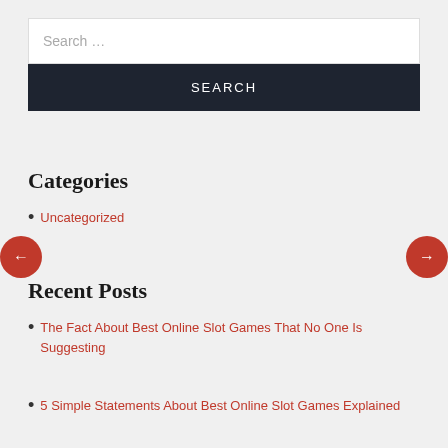Search …
SEARCH
Categories
Uncategorized
Recent Posts
The Fact About Best Online Slot Games That No One Is Suggesting
5 Simple Statements About Best Online Slot Games Explained